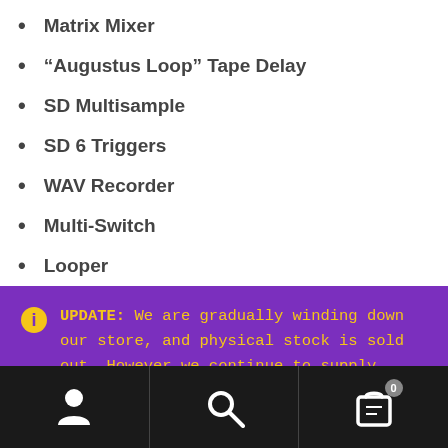Matrix Mixer
“Augustus Loop” Tape Delay
SD Multisample
SD 6 Triggers
WAV Recorder
Multi-Switch
Looper
UPDATE: We are gradually winding down our store, and physical stock is sold out. However we continue to supply products from all remaining brands on our site, as these ship directly from the UK distributors when orders are received. Full 12 month warranty still applies for all such orders.
Dismiss
User icon | Search icon | Cart (0)